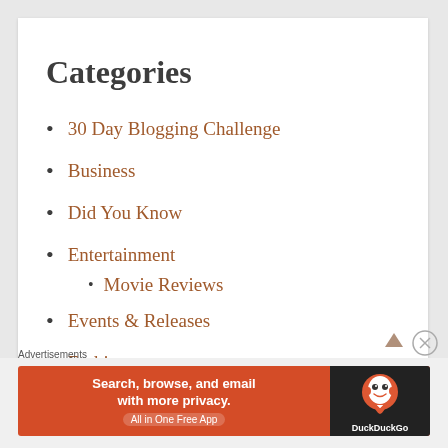Categories
30 Day Blogging Challenge
Business
Did You Know
Entertainment
Movie Reviews
Events & Releases
Fashion
History
Advertisements
[Figure (other): DuckDuckGo advertisement banner: 'Search, browse, and email with more privacy. All in One Free App' with DuckDuckGo duck logo on dark background]